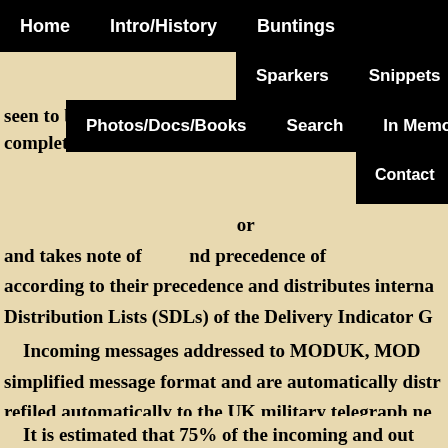Home   Intro/History   Buntings   Sparkers   Snippets   Photos/Docs/Books   Search   In Memory   Contact   Links
seen to be … the AMRA… complete w… according to their precedence and distributes internal… Distribution Lists (SDLs) of the Delivery Indicator Gr… and takes note of … nd precedence of …
Incoming messages addressed to MODUK, MOD… simplified message format and are automatically distr… refiled automatically to the UK military telegraph net…
It is estimated that 75% of the incoming and outg… the remainder, such as special handling or messages o… rejected to manual positions and handled accordingly…